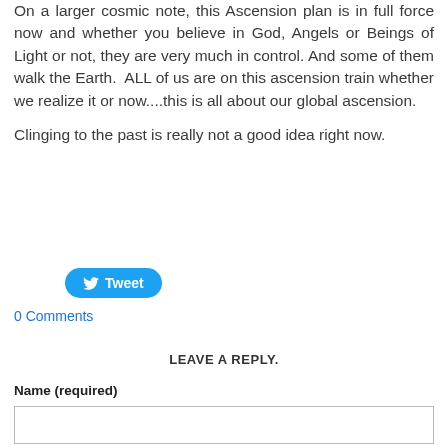On a larger cosmic note, this Ascension plan is in full force now and whether you believe in God, Angels or Beings of Light or not, they are very much in control. And some of them walk the Earth.  ALL of us are on this ascension train whether we realize it or now....this is all about our global ascension.
Clinging to the past is really not a good idea right now.
[Figure (other): Twitter Tweet button (blue pill-shaped button with bird icon and 'Tweet' text)]
0 Comments
LEAVE A REPLY.
Name (required)